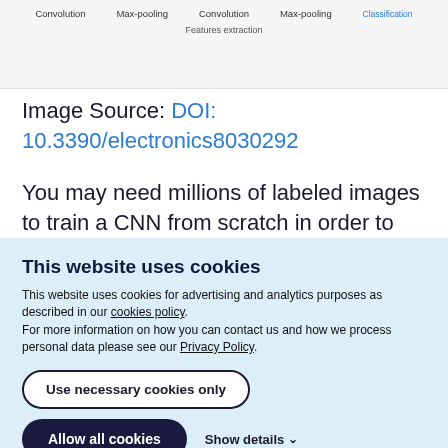[Figure (schematic): Partial CNN architecture diagram showing Convolution, Max-pooling, Convolution, Max-pooling stages labeled under 'Features extraction' with Classification layer on the right]
Image Source: DOI: 10.3390/electronics8030292
You may need millions of labeled images to train a CNN from scratch in order to achieve state-of-the-art classification accuracy. It is not trivial to collect a large number of images with...
This website uses cookies
This website uses cookies for advertising and analytics purposes as described in our cookies policy.
For more information on how you can contact us and how we process personal data please see our Privacy Policy.
Use necessary cookies only
Allow all cookies    Show details ∨